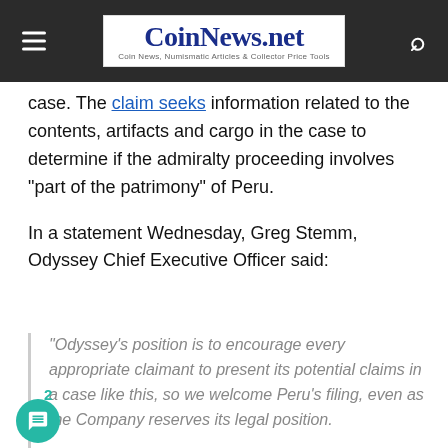CoinNews.net — Coin News, Numismatic Articles & Collector Price Tools
case. The claim seeks information related to the contents, artifacts and cargo in the case to determine if the admiralty proceeding involves "part of the patrimony" of Peru.
In a statement Wednesday, Greg Stemm, Odyssey Chief Executive Officer said:
"Odyssey's position is to encourage every appropriate claimant to present its potential claims in a case like this, so we welcome Peru's filing, even as the Company reserves its legal position.
If the court does not find that the property was